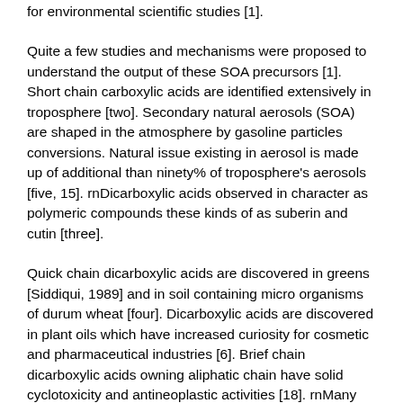for environmental scientific studies [1].
Quite a few studies and mechanisms were proposed to understand the output of these SOA precursors [1]. Short chain carboxylic acids are identified extensively in troposphere [two]. Secondary natural aerosols (SOA) are shaped in the atmosphere by gasoline particles conversions. Natural issue existing in aerosol is made up of additional than ninety% of troposphere's aerosols [five, 15]. rnDicarboxylic acids observed in character as polymeric compounds these kinds of as suberin and cutin [three].
Quick chain dicarboxylic acids are discovered in greens [Siddiqui, 1989] and in soil containing micro organisms of durum wheat [four]. Dicarboxylic acids are discovered in plant oils which have increased curiosity for cosmetic and pharmaceutical industries [6]. Brief chain dicarboxylic acids owning aliphatic chain have solid cyclotoxicity and antineoplastic activities [18]. rnMany analytical methods are applied to figure out the composition of SOA so trying to keep in see these techniques new strategy for resolve of fatty acids (popular in SOA) has been created.